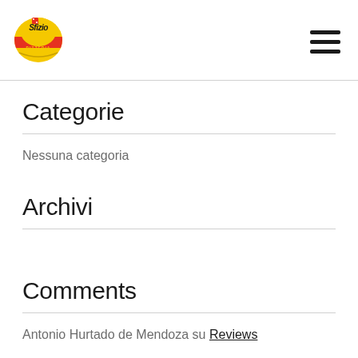[Figure (logo): Sfizio Pizzeria circular logo with red and yellow colors]
Categorie
Nessuna categoria
Archivi
Comments
Antonio Hurtado de Mendoza su Reviews